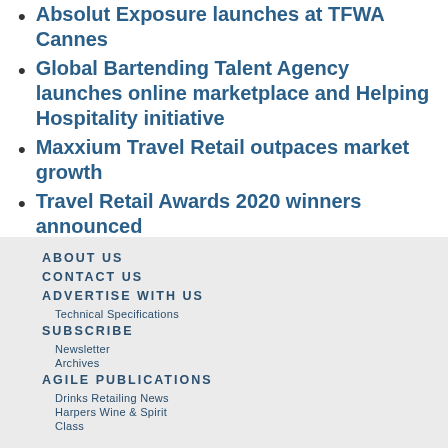Absolut Exposure launches at TFWA Cannes
Global Bartending Talent Agency launches online marketplace and Helping Hospitality initiative
Maxxium Travel Retail outpaces market growth
Travel Retail Awards 2020 winners announced
ABOUT US
CONTACT US
ADVERTISE WITH US
Technical Specifications
SUBSCRIBE
Newsletter
Archives
AGILE PUBLICATIONS
Drinks Retailing News
Harpers Wine & Spirit
Class